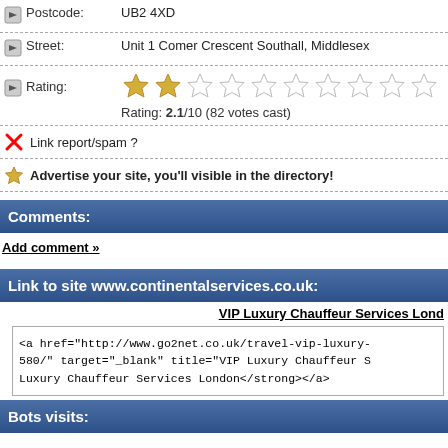Postcode: UB2 4XD
Street: Unit 1 Comer Crescent Southall, Middlesex
Rating: 2.1/10 (82 votes cast)
Link report/spam ?
Advertise your site, you'll visible in the directory!
Comments:
Add comment »
Link to site www.continentalservices.co.uk:
VIP Luxury Chauffeur Services Lond
<a href="http://www.go2net.co.uk/travel-vip-luxury-
580/" target="_blank" title="VIP Luxury Chauffeur S
Luxury Chauffeur Services London</strong></a>
Bots visits: